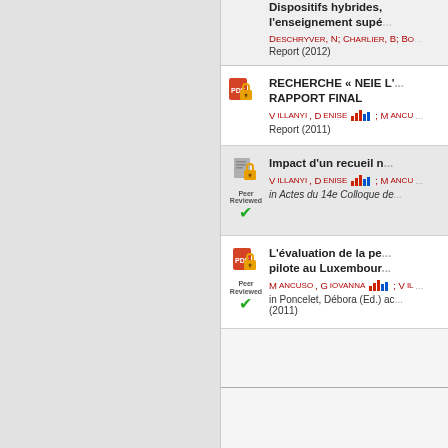Dispositifs hybrides, l'enseignement supé...
DESCHRYVER, N; CHARLIER, B; Bo...
Report (2012)
RECHERCHE « NEIE L'... RAPPORT FINAL
VILLANYI, DENISE; MANCUS...
Report (2011)
Impact d'un recueil n...
VILLANYI, DENISE; MANCUS...
in Actes du 14e Colloque de...
L'évaluation de la pe... pilote au Luxembour...
MANCUSO, GIOVANNA; VIL...
in Poncelet, Débora (Ed.) ac... (2011)